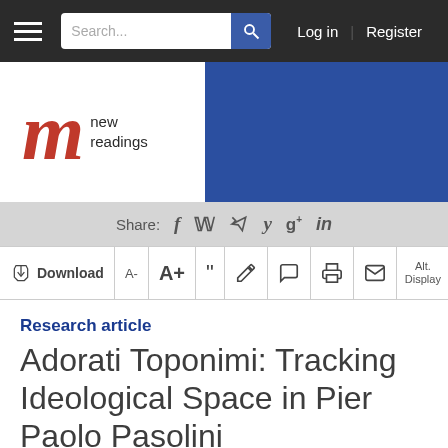New Readings — Log in | Register
[Figure (logo): New Readings journal logo with red italic 'm' and blue header band]
Share: f y g+ in
Download  A-  A+  "  edit  comment  print  email  Alt. Display
Research article
Adorati Toponimi: Tracking Ideological Space in Pier Paolo Pasolini
Author: Fabio Vighi
Abstract